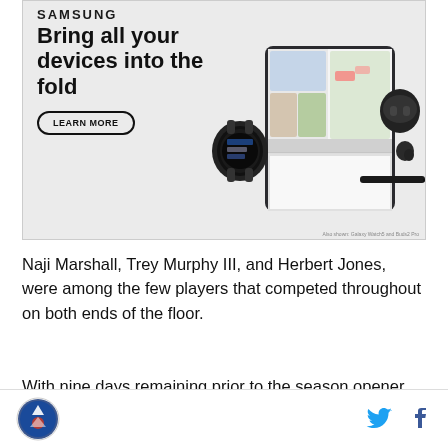[Figure (photo): Samsung advertisement showing Galaxy foldable phone with video call, Galaxy Watch, Galaxy Buds case, and S Pen. Headline: 'Bring all your devices into the fold' with LEARN MORE button.]
Naji Marshall, Trey Murphy III, and Herbert Jones, were among the few players that competed throughout on both ends of the floor.
With nine days remaining prior to the season opener
[site logo] [Twitter icon] [Facebook icon]